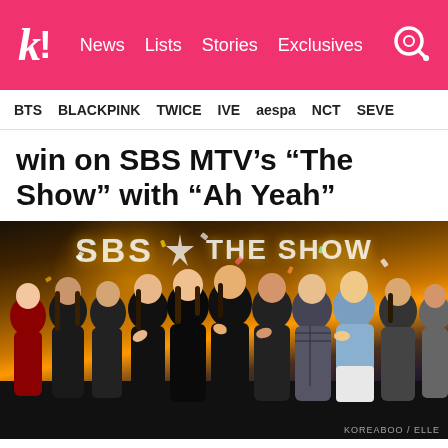k! News Lists Stories Exclusives
BTS BLACKPINK TWICE IVE aespa NCT SEVE
win on SBS MTV's “The Show” with “Ah Yeah”
[Figure (photo): Group of K-pop artists standing on the SBS MTV The Show stage. Multiple performers in black and colorful outfits celebrating on stage with confetti. The SBS MTV The Show logo/text is visible in the background.]